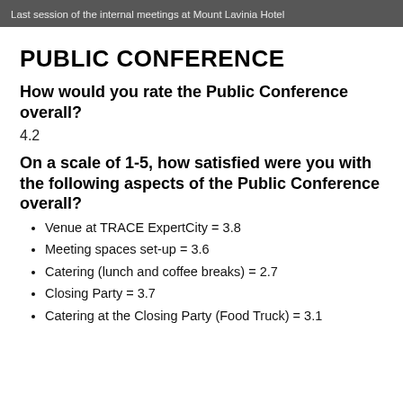Last session of the internal meetings at Mount Lavinia Hotel
PUBLIC CONFERENCE
How would you rate the Public Conference overall?
4.2
On a scale of 1-5, how satisfied were you with the following aspects of the Public Conference overall?
Venue at TRACE ExpertCity = 3.8
Meeting spaces set-up = 3.6
Catering (lunch and coffee breaks) = 2.7
Closing Party = 3.7
Catering at the Closing Party (Food Truck) = 3.1